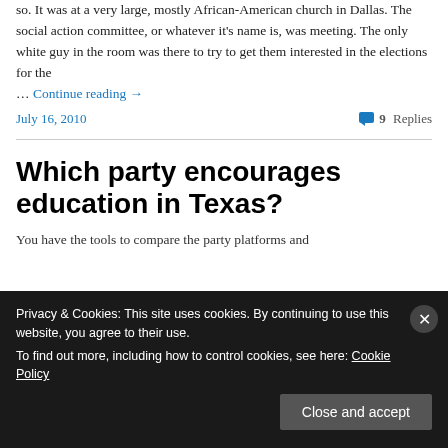so. It was at a very large, mostly African-American church in Dallas. The social action committee, or whatever it's name is, was meeting. The only white guy in the room was there to try to get them interested in the elections for the … Continue reading →
July 16, 2010    9 Replies
Which party encourages education in Texas?
You have the tools to compare the party platforms and
Privacy & Cookies: This site uses cookies. By continuing to use this website, you agree to their use. To find out more, including how to control cookies, see here: Cookie Policy